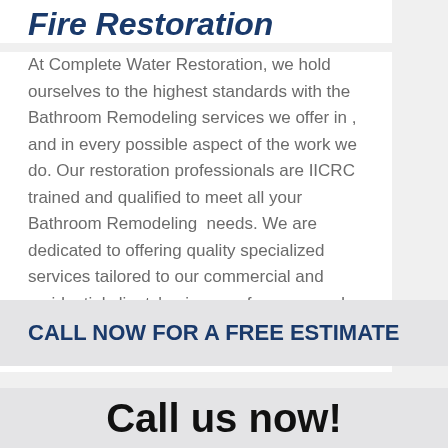Fire Restoration
At Complete Water Restoration, we hold ourselves to the highest standards with the Bathroom Remodeling services we offer in , and in every possible aspect of the work we do. Our restoration professionals are IICRC trained and qualified to meet all your Bathroom Remodeling  needs. We are dedicated to offering quality specialized services tailored to our commercial and residential clients' unique preferences and situations.
CALL NOW FOR A FREE ESTIMATE
Call us now!